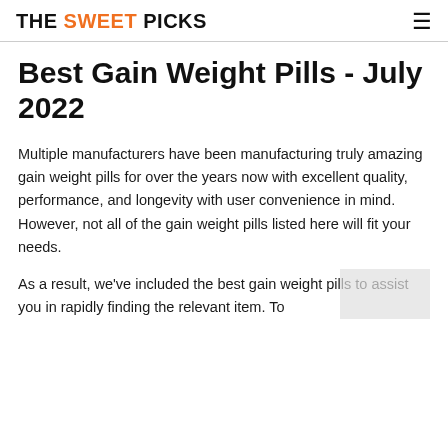THE SWEET PICKS
Best Gain Weight Pills - July 2022
Multiple manufacturers have been manufacturing truly amazing gain weight pills for over the years now with excellent quality, performance, and longevity with user convenience in mind. However, not all of the gain weight pills listed here will fit your needs.
As a result, we've included the best gain weight pills to assist you in rapidly finding the relevant item. To